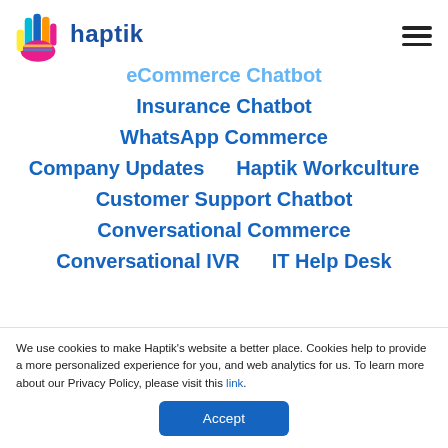[Figure (logo): Haptik logo with colorful hand icon and blue 'haptik' text]
eCommerce Chatbot
Insurance Chatbot
WhatsApp Commerce
Company Updates    Haptik Workculture
Customer Support Chatbot
Conversational Commerce
Conversational IVR    IT Help Desk
We use cookies to make Haptik's website a better place. Cookies help to provide a more personalized experience for you, and web analytics for us. To learn more about our Privacy Policy, please visit this link.